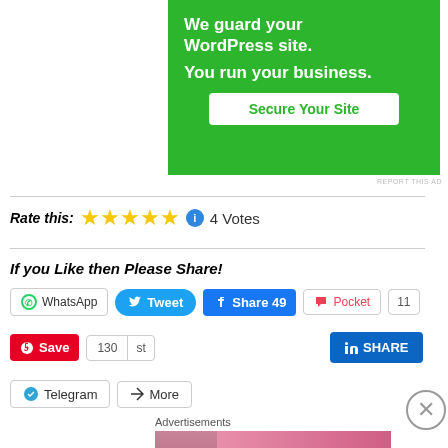[Figure (illustration): Green advertisement banner: 'We guard your WordPress site. You run your business.' with a 'Secure Your Site' button]
REPORT THIS AD
Rate this: ★★★★★ ℹ 4 Votes
If you Like then Please Share!
WhatsApp  Tweet  Share 49  Pocket  11
Save  130 st  SHARE (LinkedIn)
Telegram  More
Advertisements
[Figure (illustration): Victoria's Secret advertisement banner with model photo, VS logo, 'SHOP THE COLLECTION', and 'SHOP NOW' button]